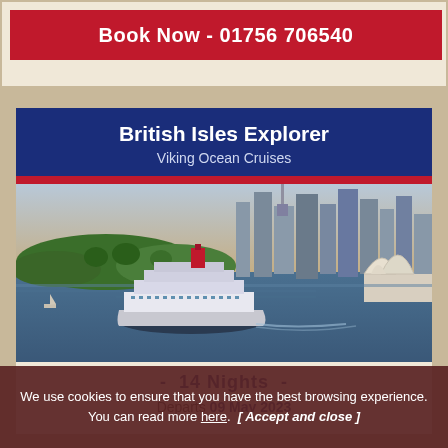Book Now - 01756 706540
British Isles Explorer
Viking Ocean Cruises
[Figure (photo): Aerial view of a city harbor with a cruise ship in the foreground and an opera house on the right, city skyscrapers in the background, greenery parkland in center]
- 14 Nights -
Departs 09 May 2023
We use cookies to ensure that you have the best browsing experience. You can read more here. [ Accept and close ]